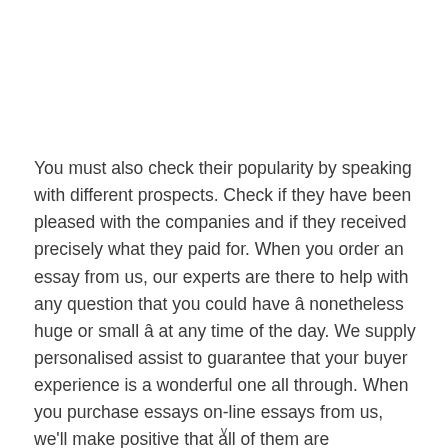You must also check their popularity by speaking with different prospects. Check if they have been pleased with the companies and if they received precisely what they paid for. When you order an essay from us, our experts are there to help with any question that you could have â nonetheless huge or small â at any time of the day. We supply personalised assist to guarantee that your buyer experience is a wonderful one all through. When you purchase essays on-line essays from us, we'll make positive that all of them are
v